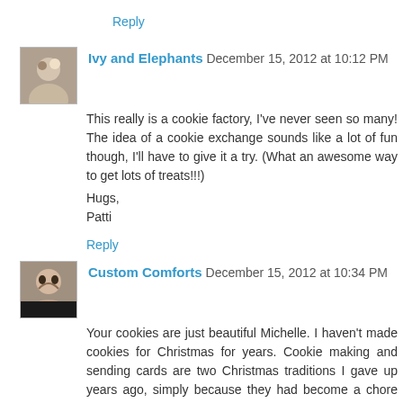Reply
Ivy and Elephants  December 15, 2012 at 10:12 PM
This really is a cookie factory, I've never seen so many! The idea of a cookie exchange sounds like a lot of fun though, I'll have to give it a try. (What an awesome way to get lots of treats!!!)
Hugs,
Patti
Reply
Custom Comforts  December 15, 2012 at 10:34 PM
Your cookies are just beautiful Michelle. I haven't made cookies for Christmas for years. Cookie making and sending cards are two Christmas traditions I gave up years ago, simply because they had become a chore and a stress more than an enjoyment. Haven't missed either, except I do miss eating the cookies. Your pretty cookies do tempt me (almost) to make some, but I don't need the calories or the